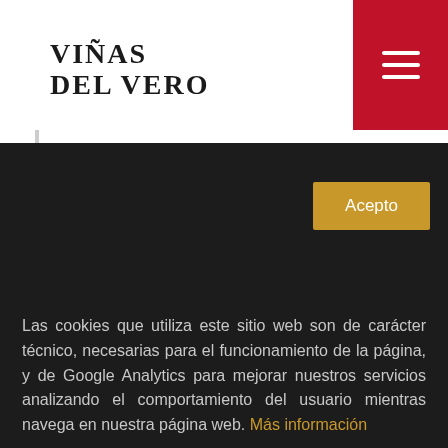[Figure (logo): Viñas del Vero logo in serif bold text]
[Figure (other): Red hamburger menu button with three white lines]
VIDAS 3
VIÑASDELVERO 1
VINESPAÑA 3
VINI 4
VINO 1
VINOS 3
VINOSUB30 1
Las cookies que utiliza este sitio web son de carácter técnico, necesarias para el funcionamiento de la página, y de Google Analytics para mejorar nuestros servicios analizando el comportamiento del usuario mientras navega en nuestra página web. Más información